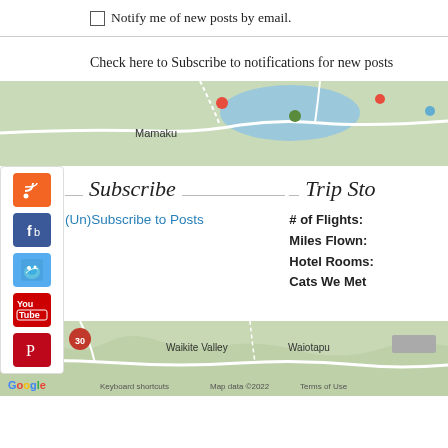Notify me of new posts by email.
Check here to Subscribe to notifications for new posts
[Figure (map): Google map showing Mamaku area with lake, roads, and location markers]
[Figure (infographic): Social media sidebar with RSS, Facebook, Twitter, YouTube, Pinterest icons]
Subscribe
(Un)Subscribe to Posts
Trip Sto
# of Flights:
Miles Flown:
Hotel Rooms:
Cats We Met
[Figure (map): Google map showing Waikite Valley, Waiotapu area with roads and terrain. Includes Google branding, keyboard shortcuts, Map data ©2022, Terms of Use]